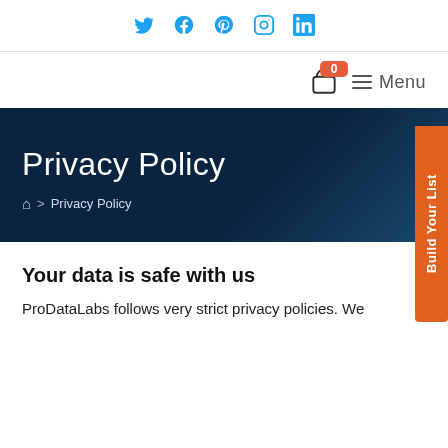Social icons: Twitter, Facebook, Pinterest, Instagram, LinkedIn
Shopping bag (0 items) | Menu
Privacy Policy
Home > Privacy Policy
Your data is safe with us
ProDataLabs follows very strict privacy policies. We